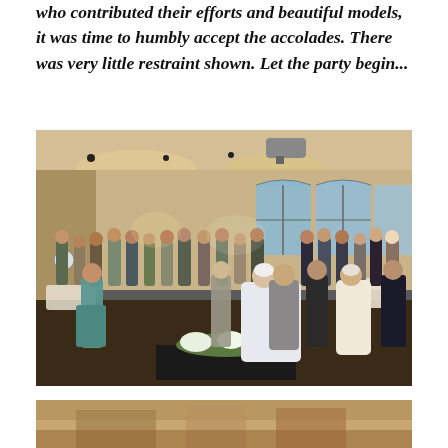who contributed their efforts and beautiful models, it was time to humbly accept the accolades. There was very little restraint shown. Let the party begin...
[Figure (photo): A large banquet or reception hall filled with many people standing and mingling. The room has warm lighting, a drop ceiling with track lights, arched windows on the right side, and round tables. A projector is visible on the ceiling. People are dressed in smart-casual attire.]
[Figure (photo): Partial view of another photo at the bottom of the page, cropped.]